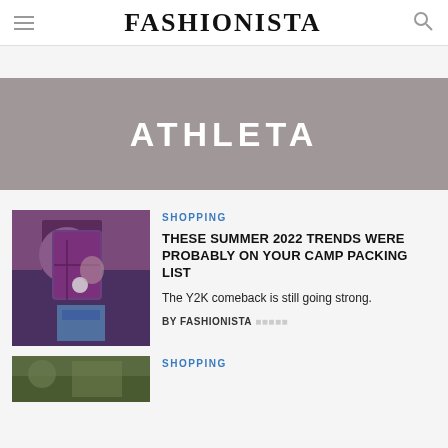FASHIONISTA
[Figure (screenshot): Fashionista website - ATHLETA tag/category page showing articles about shopping]
ATHLETA
SHOPPING
THESE SUMMER 2022 TRENDS WERE PROBABLY ON YOUR CAMP PACKING LIST
The Y2K comeback is still going strong.
BY FASHIONISTA
SHOPPING